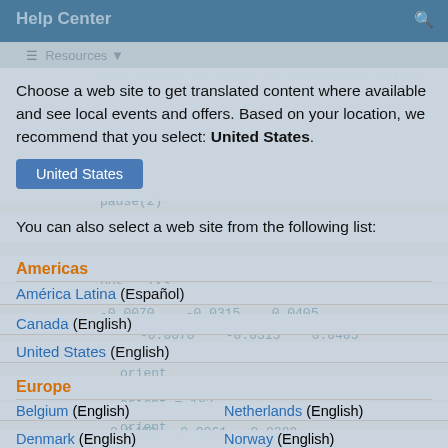Help Center
Choose a web site to get translated content where available and see local events and offers. Based on your location, we recommend that you select: United States.
United States (button)
You can also select a web site from the following list:
Americas
América Latina (Español)
Canada (English)
United States (English)
Europe
Belgium (English)  Netherlands (English)
Denmark (English)  Norway (English)
Deutschland (Deutsch)  Österreich (Deutsch)
España (Español)  Portugal (English)